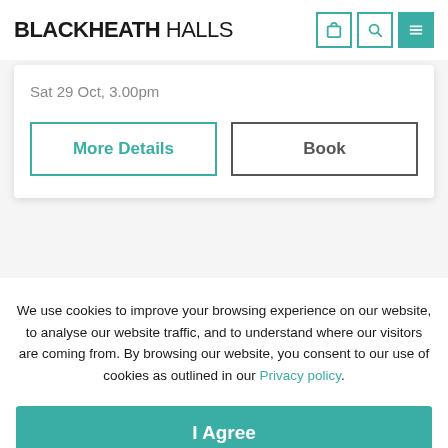BLACKHEATH HALLS
Sat 29 Oct, 3.00pm
More Details
Book
We use cookies to improve your browsing experience on our website, to analyse our website traffic, and to understand where our visitors are coming from. By browsing our website, you consent to our use of cookies as outlined in our Privacy policy.
I Agree